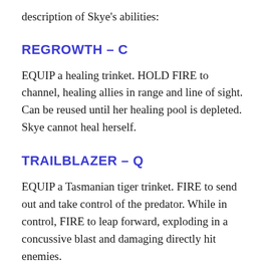In case you missed it earlier, here's a detailed description of Skye's abilities:
REGROWTH – C
EQUIP a healing trinket. HOLD FIRE to channel, healing allies in range and line of sight. Can be reused until her healing pool is depleted. Skye cannot heal herself.
TRAILBLAZER – Q
EQUIP a Tasmanian tiger trinket. FIRE to send out and take control of the predator. While in control, FIRE to leap forward, exploding in a concussive blast and damaging directly hit enemies.